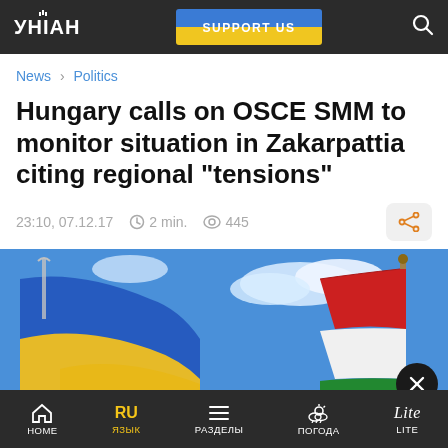УНІАН | SUPPORT US
News › Politics
Hungary calls on OSCE SMM to monitor situation in Zakarpattia citing regional "tensions"
23:10, 07.12.17   2 min.   445
[Figure (photo): Ukrainian and Hungarian flags waving against a blue sky with clouds]
HOME   ЯЗЫК   РАЗДЕЛЫ   ПОГОДА   LITE